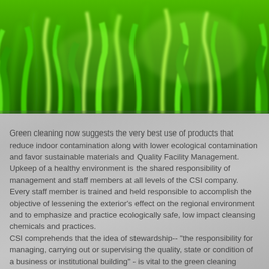[Figure (photo): Close-up photograph of lush green grass with blades in sharp and blurred focus]
Green cleaning now suggests the very best use of products that reduce indoor contamination along with lower ecological contamination and favor sustainable materials and Quality Facility Management.
Upkeep of a healthy environment is the shared responsibility of management and staff members at all levels of the CSI company. Every staff member is trained and held responsible to accomplish the objective of lessening the exterior's effect on the regional environment and to emphasize and practice ecologically safe, low impact cleansing chemicals and practices.
CSI comprehends that the idea of stewardship-- "the responsibility for managing, carrying out or supervising the quality, state or condition of a business or institutional building" - is vital to the green cleaning viewpoint and essential to the success of our green